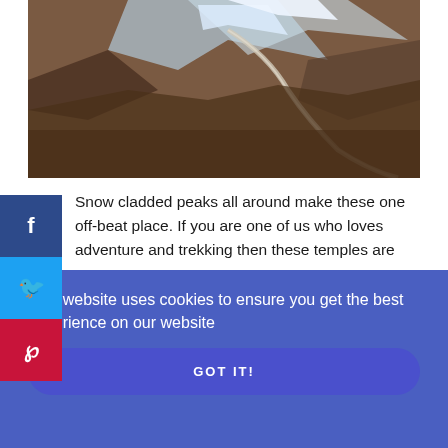[Figure (photo): Aerial or mountain view showing snow-capped peaks, rocky terrain with brown and grey tones, and a winding road or path visible.]
Snow cladded peaks all around make these one off-beat place. If you are one of us who loves adventure and trekking then these temples are surely for people like you and me. The trekking to Panch Kedar temples depends according to the area we are going to. While Tungnath, Rudranath remains a little tough but Kalpeshwar Mahadev and Madhymaheswar are fairly simple and easy to reach.
This website uses cookies to ensure you get the best experience on our website
GOT IT!